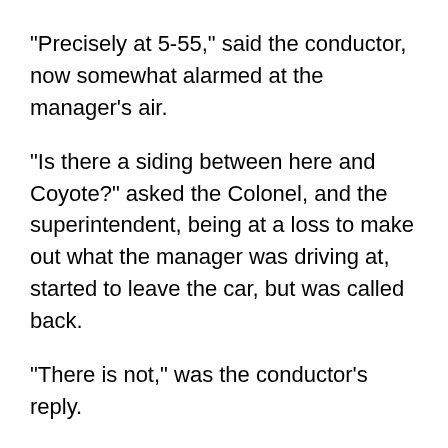"Precisely at 5-55," said the conductor, now somewhat alarmed at the manager's air.
"Is there a siding between here and Coyote?" asked the Colonel, and the superintendent, being at a loss to make out what the manager was driving at, started to leave the car, but was called back.
"There is not," was the conductor’s reply.
"Perhaps," said the Colonel, "there was not when we went down, but there is now, for I saw a locomotive standing there."
The conductor laughed as the superintendent had done, but the Colonel offered to risk a case of champagne that he had seen no ghost train, and the superintendent took the bet as the easiest way of settling an argument which